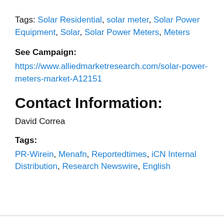Tags: Solar Residential, solar meter, Solar Power Equipment, Solar, Solar Power Meters, Meters
See Campaign:
https://www.alliedmarketresearch.com/solar-power-meters-market-A12151
Contact Information:
David Correa
Tags:
PR-Wirein, Menafn, Reportedtimes, iCN Internal Distribution, Research Newswire, English